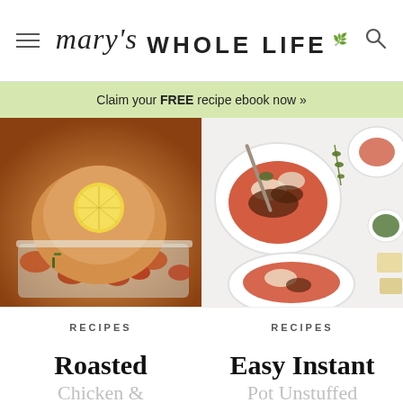mary's WHOLE LIFE
Claim your FREE recipe ebook now »
[Figure (photo): Roasted whole chicken with lemon on top and root vegetables in a white baking dish]
[Figure (photo): Easy Instant Pot Unstuffed Cabbage Soup served in white bowls with ground beef and cabbage]
RECIPES
RECIPES
Roasted
Easy Instant
Chicken & Root Veggies
Pot Unstuffed Cabbage Soup